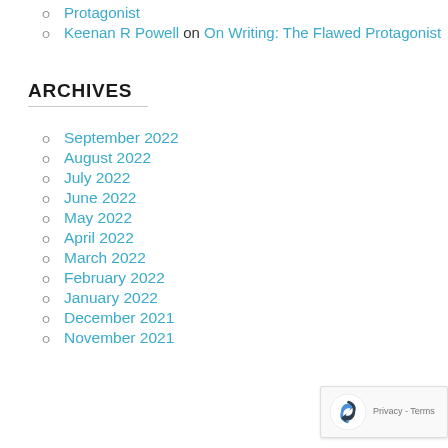Keenan R Powell on On Writing: The Flawed Protagonist
ARCHIVES
September 2022
August 2022
July 2022
June 2022
May 2022
April 2022
March 2022
February 2022
January 2022
December 2021
November 2021